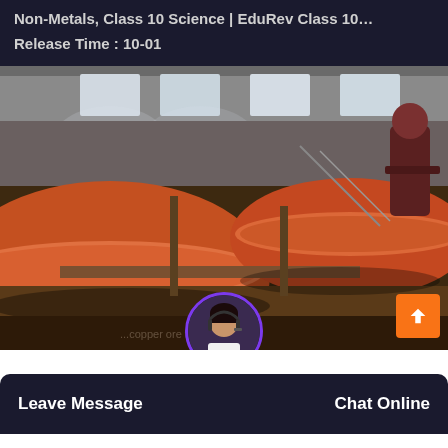Non-Metals, Class 10 Science | EduRev Class 10…
Release Time : 10-01
[Figure (photo): Industrial facility showing large circular orange/red copper ore flotation tanks or discs on a conveyor/processing line inside a warehouse. A worker in dark clothing is visible in the background.]
Leave Message   Chat Online